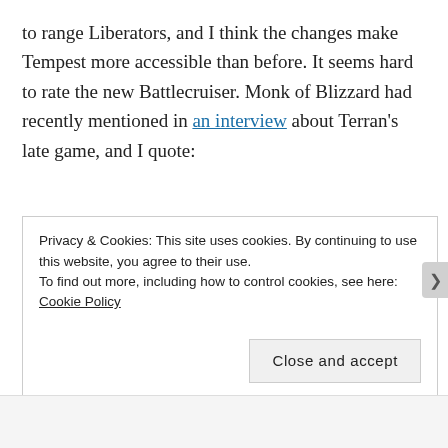to range Liberators, and I think the changes make Tempest more accessible than before. It seems hard to rate the new Battlecruiser. Monk of Blizzard had recently mentioned in an interview about Terran's late game, and I quote:
“Just throughout the history of StarCraft, Terran has been seen as disfavored [in the late-game] in some matchups. So we’re trying to make it, maybe not 100% balanced or 50/50 balanced, but make it so that all races feel like they have a decent chance in the late-game depending on how they play. Our goal isn’t to ensure that each of the race’s
Privacy & Cookies: This site uses cookies. By continuing to use this website, you agree to their use.
To find out more, including how to control cookies, see here: Cookie Policy
Close and accept